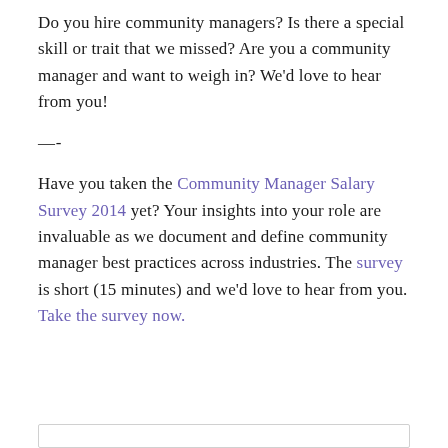Do you hire community managers? Is there a special skill or trait that we missed? Are you a community manager and want to weigh in? We'd love to hear from you!
—-
Have you taken the Community Manager Salary Survey 2014 yet? Your insights into your role are invaluable as we document and define community manager best practices across industries. The survey is short (15 minutes) and we'd love to hear from you. Take the survey now.